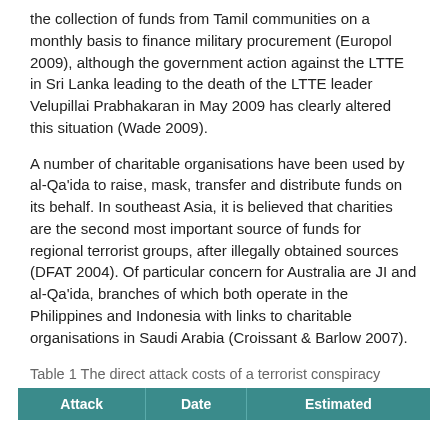the collection of funds from Tamil communities on a monthly basis to finance military procurement (Europol 2009), although the government action against the LTTE in Sri Lanka leading to the death of the LTTE leader Velupillai Prabhakaran in May 2009 has clearly altered this situation (Wade 2009).
A number of charitable organisations have been used by al-Qa'ida to raise, mask, transfer and distribute funds on its behalf. In southeast Asia, it is believed that charities are the second most important source of funds for regional terrorist groups, after illegally obtained sources (DFAT 2004). Of particular concern for Australia are JI and al-Qa'ida, branches of which both operate in the Philippines and Indonesia with links to charitable organisations in Saudi Arabia (Croissant & Barlow 2007).
Table 1 The direct attack costs of a terrorist conspiracy
| Attack | Date | Estimated |
| --- | --- | --- |